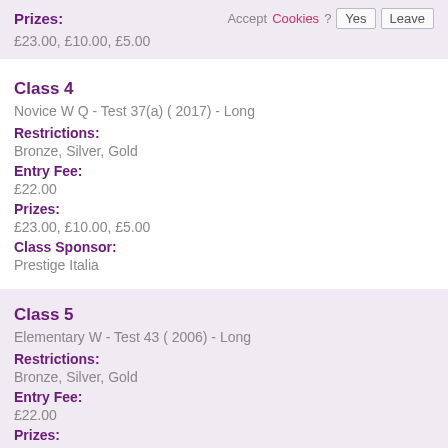Prizes: £23.00, £10.00, £5.00
Class 4
Novice W Q - Test 37(a) ( 2017) - Long
Restrictions:
Bronze, Silver, Gold
Entry Fee:
£22.00
Prizes:
£23.00, £10.00, £5.00
Class Sponsor:
Prestige Italia
Class 5
Elementary W - Test 43 ( 2006) - Long
Restrictions:
Bronze, Silver, Gold
Entry Fee:
£22.00
Prizes: